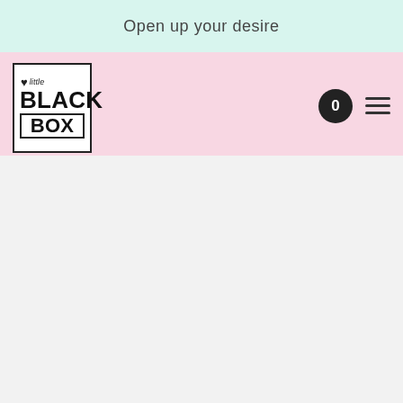Open up your desire
[Figure (logo): Little Black Box logo: a heart symbol followed by cursive 'little' text, then bold 'BLACK' and boxed 'BOX' text, all inside a square border]
0